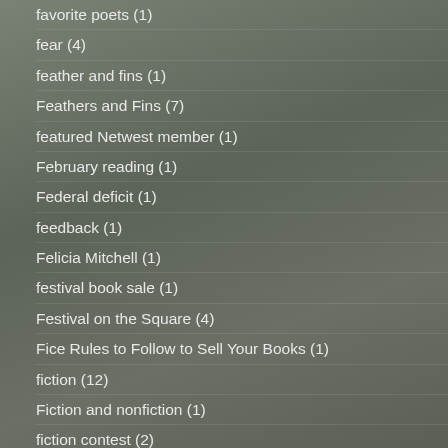favorite poets (1)
fear (4)
feather and fins (1)
Feathers and Fins (7)
featured Netwest member (1)
February reading (1)
Federal deficit (1)
feedback (1)
Felicia Mitchell (1)
festival book sale (1)
Festival on the Square (4)
Fice Rules to Follow to Sell Your Books (1)
fiction (12)
Fiction and nonfiction (1)
fiction contest (2)
fiction writers (1)
fifties (1)
Finishing Line Press (10)
First Amendment of the Constitution (1)